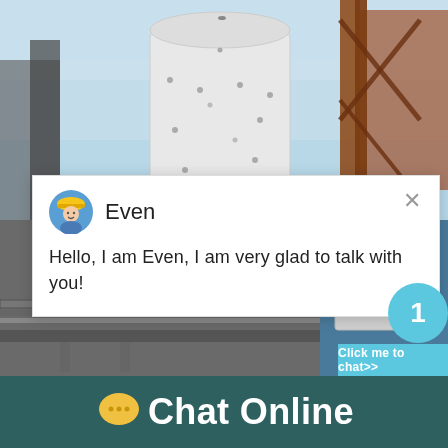[Figure (photo): Industrial machinery photo showing a large white cylindrical silo/tank structure with metal framework and pipes, against a blue sky. Lower portion shows industrial processing equipment.]
[Figure (screenshot): Live chat popup window with agent avatar (person in hard hat icon), agent name 'Even', and greeting message. Includes close (X) button in top right corner.]
Even
Hello, I am Even, I am very glad to talk with you!
[Figure (screenshot): Chat widget on right side showing industrial cone crusher image thumbnail, a teal circular badge with number '1', and a teal 'Click me to chat>>' button.]
1
Click me to chat>>
Chat Online